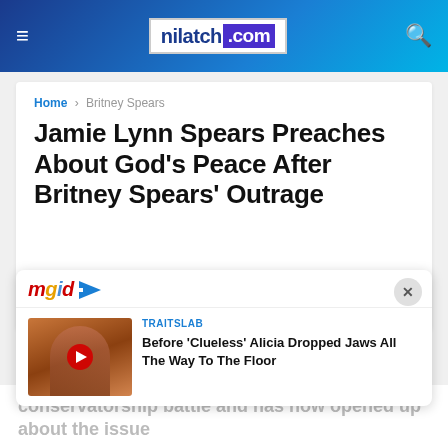nilatch.com
Home > Britney Spears
Jamie Lynn Spears Preaches About God's Peace After Britney Spears' Outrage
[Figure (other): mgid advertisement widget with close button, showing a TRAITSLAB article: 'Before 'Clueless' Alicia Dropped Jaws All The Way To The Floor' with a thumbnail image of a woman and a red YouTube play button]
conservatorship battle and has now opened up about the issue